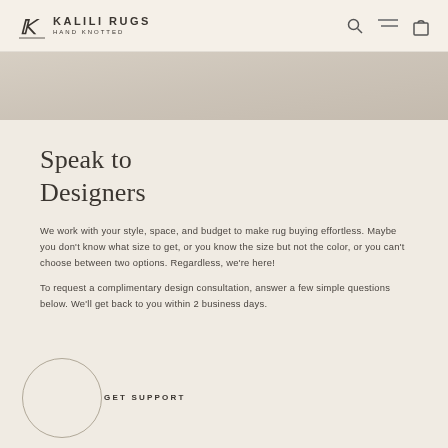KALILI RUGS HAND KNOTTED
[Figure (photo): Decorative hero image strip showing rugs or textiles in muted beige tones]
Speak to Designers
We work with your style, space, and budget to make rug buying effortless. Maybe you don't know what size to get, or you know the size but not the color, or you can't choose between two options. Regardless, we're here!
To request a complimentary design consultation, answer a few simple questions below. We'll get back to you within 2 business days.
GET SUPPORT